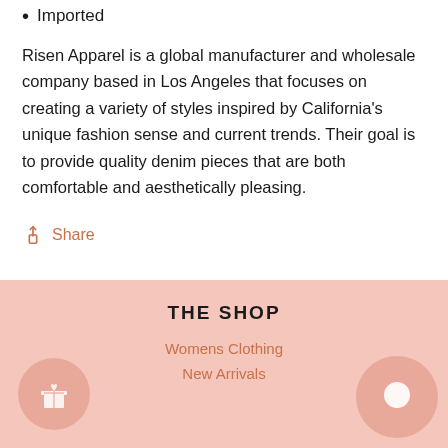Imported
Risen Apparel is a global manufacturer and wholesale company based in Los Angeles that focuses on creating a variety of styles inspired by California's unique fashion sense and current trends. Their goal is to provide quality denim pieces that are both comfortable and aesthetically pleasing.
Share
THE SHOP
Womens Clothing
New Arrivals